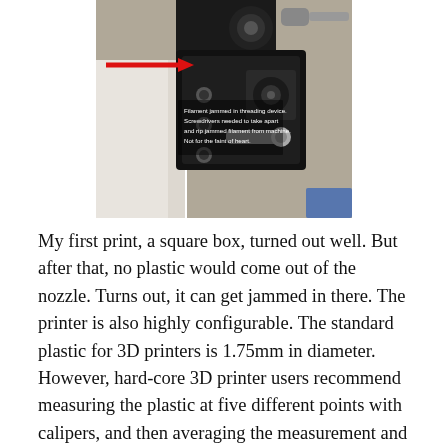[Figure (photo): Close-up photo of a 3D printer extruder/threading device with a red arrow pointing to the location where filament is jammed. White text annotation reads: 'Filament jammed in threading device. Screwdrivers needed to take apart and rip jammed filament from machine. Not for the faint of heart.']
My first print, a square box, turned out well. But after that, no plastic would come out of the nozzle. Turns out, it can get jammed in there. The printer is also highly configurable. The standard plastic for 3D printers is 1.75mm in diameter. However, hard-core 3D printer users recommend measuring the plastic at five different points with calipers, and then averaging the measurement and adjusting the settings after recommended by manufacturer.